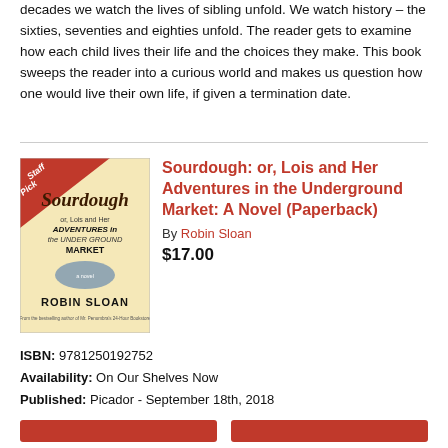decades we watch the lives of sibling unfold. We watch history – the sixties, seventies and eighties unfold. The reader gets to examine how each child lives their life and the choices they make. This book sweeps the reader into a curious world and makes us question how one would live their own life, if given a termination date.
[Figure (illustration): Book cover for Sourdough by Robin Sloan with a 'Staff Pick' ribbon banner in the top-left corner. The cover shows handwritten-style text on a cream/yellow background.]
Sourdough: or, Lois and Her Adventures in the Underground Market: A Novel (Paperback)
By Robin Sloan
$17.00
ISBN: 9781250192752
Availability: On Our Shelves Now
Published: Picador - September 18th, 2018